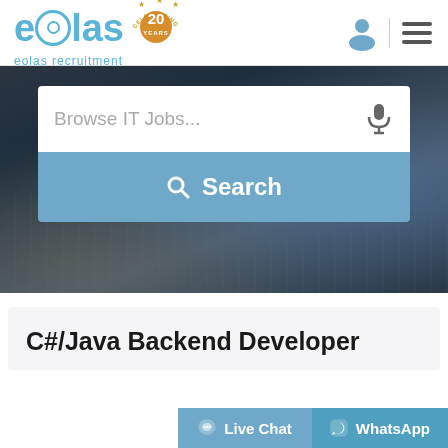[Figure (logo): Eolas Recruitment logo with '20 Years Celebrating' badge in blue and gold]
[Figure (screenshot): Search bar hero section with city background, 'Browse IT Jobs...' placeholder and Search button]
C#/Java Backend Developer
Live Chat   WhatsApp